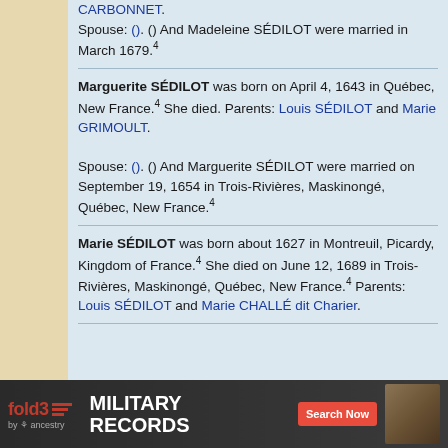CARBONNET. Spouse: (). () And Madeleine SÉDILOT were married in March 1679.⁴
Marguerite SÉDILOT was born on April 4, 1643 in Québec, New France.⁴ She died. Parents: Louis SÉDILOT and Marie GRIMOULT.
Spouse: (). () And Marguerite SÉDILOT were married on September 19, 1654 in Trois-Rivières, Maskinongé, Québec, New France.⁴
Marie SÉDILOT was born about 1627 in Montreuil, Picardy, Kingdom of France.⁴ She died on June 12, 1689 in Trois-Rivières, Maskinongé, Québec, New France.⁴ Parents: Louis SÉDILOT and Marie CHALLÉ dit Charier.
[Figure (screenshot): fold3 by Ancestry advertisement banner for Military Records with Search Now button]